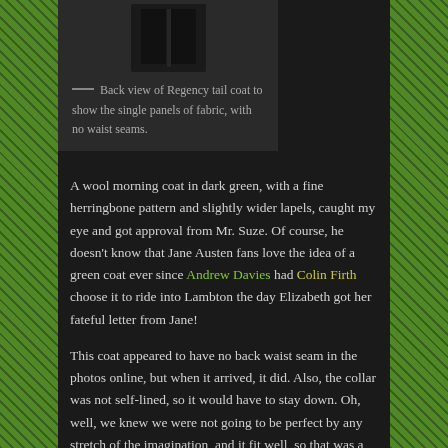[Figure (photo): Back view of a dark Regency tail coat shown against a dark background, displaying the single panels of fabric with no waist seams.]
Back view of Regency tail coat to show the single panels of fabric, with no waist seams.
A wool morning coat in dark green, with a fine herringbone pattern and slightly wider lapels, caught my eye and got approval from Mr. Suze. Of course, he doesn't know that Jane Austen fans love the idea of a green coat ever since Andrew Davies had Colin Firth choose it to ride into Lambton the day Elizabeth got her fateful letter from Jane!
This coat appeared to have no back waist seam in the photos online, but when it arrived, it did. Also, the collar was not self-lined, so it would have to stay down. Oh, well, we knew we were not going to be perfect by any stretch of the imagination, and it fit well, so that was a huge relief. It was advertised on eBay at £35, or $80 with shipping.